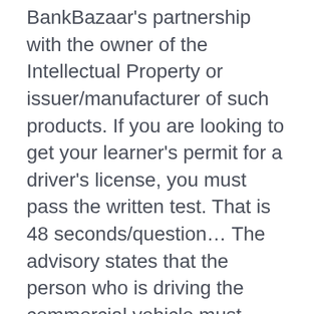BankBazaar's partnership with the owner of the Intellectual Property or issuer/manufacturer of such products. If you are looking to get your learner's permit for a driver's license, you must pass the written test. That is 48 seconds/question… The advisory states that the person who is driving the commercial vehicle must carry a valid driving license or International Driving Permit along with the name of the authority who has granted permission to drive a vehicle with an identification number. From Montego Bay to Kingston, we will help you to get driving around the beautiful island of Jamaica. and are hired by the people carrying domestic licenses. A score of … We'll give you score too